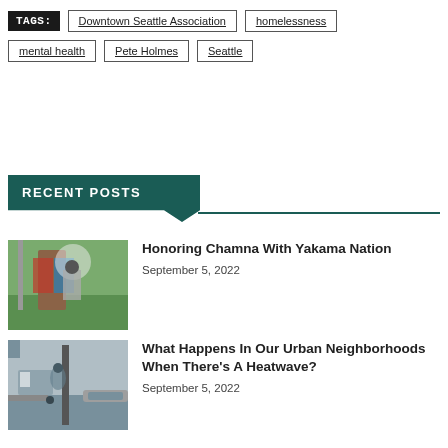TAGS: Downtown Seattle Association | homelessness | mental health | Pete Holmes | Seattle
RECENT POSTS
[Figure (photo): Outdoor ceremony scene with people near a wooden structure and a flagpole, green lawn and tent in background]
Honoring Chamna With Yakama Nation
September 5, 2022
[Figure (photo): Person standing near a utility pole on a sidewalk, residential neighborhood with parked cars]
What Happens In Our Urban Neighborhoods When There's A Heatwave?
September 5, 2022